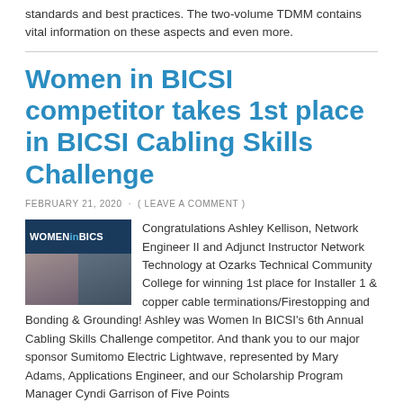standards and best practices. The two-volume TDMM contains vital information on these aspects and even more.
Women in BICSI competitor takes 1st place in BICSI Cabling Skills Challenge
FEBRUARY 21, 2020 · ( LEAVE A COMMENT )
[Figure (photo): Women in BICSI promotional image with logo and photos of participants]
Congratulations Ashley Kellison, Network Engineer II and Adjunct Instructor Network Technology at Ozarks Technical Community College for winning 1st place for Installer 1 & copper cable terminations/Firestopping and Bonding & Grounding! Ashley was Women In BICSI's 6th Annual Cabling Skills Challenge competitor. And thank you to our major sponsor Sumitomo Electric Lightwave, represented by Mary Adams, Applications Engineer, and our Scholarship Program Manager Cyndi Garrison of Five Points